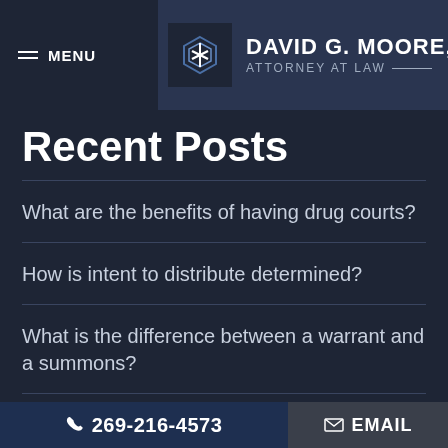MENU | DAVID G. MOORE, ATTORNEY AT LAW
Recent Posts
What are the benefits of having drug courts?
How is intent to distribute determined?
What is the difference between a warrant and a summons?
Is it legal for the police to lie to you during an interrogation?
269-216-4573 | EMAIL